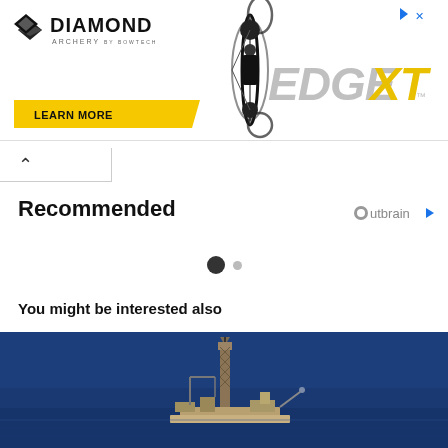[Figure (photo): Diamond Archery EDGE XT advertisement banner with bow image, yellow LEARN MORE button, and grey/yellow EDGE XT text]
[Figure (infographic): A caret/chevron up arrow inside a white tab UI element]
Recommended
[Figure (infographic): Outbrain logo with circular icon and play arrow]
[Figure (infographic): Two dots carousel indicator: one large dark filled circle and one small grey circle]
You might be interested also
[Figure (photo): Aerial photograph of an offshore oil drilling rig platform on dark blue ocean water]